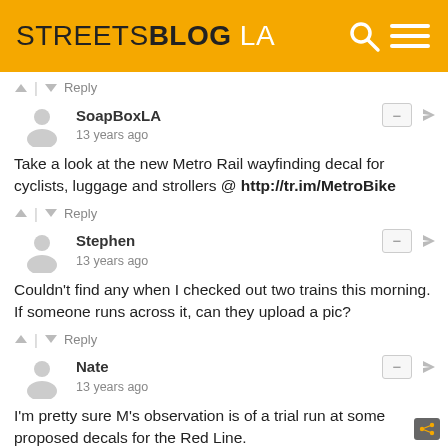STREETSBLOG LA
^ | v  Reply
SoapBoxLA
13 years ago
Take a look at the new Metro Rail wayfinding decal for cyclists, luggage and strollers @ http://tr.im/MetroBike
^ | v  Reply
Stephen
13 years ago
Couldn't find any when I checked out two trains this morning. If someone runs across it, can they upload a pic?
^ | v  Reply
Nate
13 years ago
I'm pretty sure M's observation is of a trial run at some proposed decals for the Red Line.
^ | v  Reply